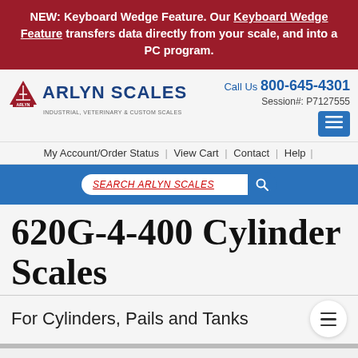NEW: Keyboard Wedge Feature. Our Keyboard Wedge Feature transfers data directly from your scale, and into a PC program.
[Figure (logo): Arlyn Scales logo with triangular icon and text ARLYN SCALES INDUSTRIAL, VETERINARY & CUSTOM SCALES]
Call Us 800-645-4301
Session#: P7127555
My Account/Order Status | View Cart | Contact | Help
SEARCH ARLYN SCALES
620G-4-400 Cylinder Scales
For Cylinders, Pails and Tanks